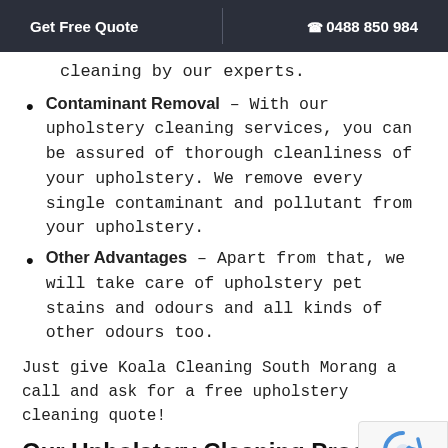Get Free Quote | ☎ 0488 850 984
cleaning by our experts.
Contaminant Removal – With our upholstery cleaning services, you can be assured of thorough cleanliness of your upholstery. We remove every single contaminant and pollutant from your upholstery.
Other Advantages – Apart from that, we will take care of upholstery pet stains and odours and all kinds of other odours too.
Just give Koala Cleaning South Morang a call and ask for a free upholstery cleaning quote!
Our Upholstery Cleaning Process
Before you decide to hire us for upholstery cleaning